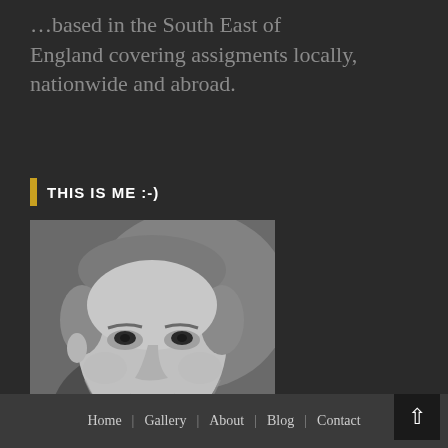...based in the South East of England covering assigments locally, nationwide and abroad.
THIS IS ME :-)
[Figure (photo): Black and white portrait photo of a middle-aged man with short grey hair, slight smile, wearing a dark jacket]
Home | Gallery | About | Blog | Contact